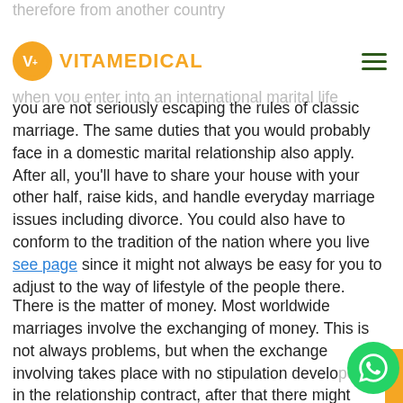VITAMEDICAL
therefore from another country
when you enter into an international marital life you are not seriously escaping the rules of classic marriage. The same duties that you would probably face in a domestic marital relationship also apply. After all, you'll have to share your house with your other half, raise kids, and handle everyday marriage issues including divorce. You could also have to conform to the tradition of the nation where you live see page since it might not always be easy for you to adjust to the way of lifestyle of the people there.
There is the matter of money. Most worldwide marriages involve the exchanging of money. This is not always problems, but when the exchange involving takes place with no stipulation developed in the relationship contract, after that there might